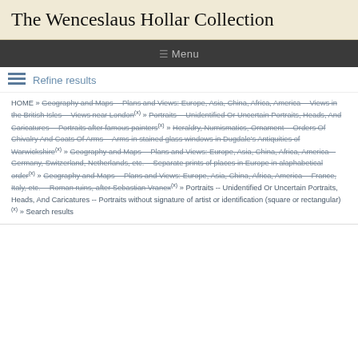The Wenceslaus Hollar Collection
≡ Menu
Refine results
HOME » Geography and Maps -- Plans and Views: Europe, Asia, China, Africa, America -- Views in the British Isles -- Views near London(x) » Portraits -- Unidentified Or Uncertain Portraits, Heads, And Caricatures -- Portraits after famous painters(x) » Heraldry, Numismatics, Ornament -- Orders Of Chivalry And Coats Of Arms -- Arms in stained glass windows in Dugdale's Antiquities of Warwickshire(x) » Geography and Maps -- Plans and Views: Europe, Asia, China, Africa, America -- Germany, Switzerland, Netherlands, etc. -- Separate prints of places in Europe in alaphabetical order(x) » Geography and Maps -- Plans and Views: Europe, Asia, China, Africa, America -- France, Italy, etc. -- Roman ruins, after Sebastian Vranex(x) » Portraits -- Unidentified Or Uncertain Portraits, Heads, And Caricatures -- Portraits without signature of artist or identification (square or rectangular)(x) » Search results